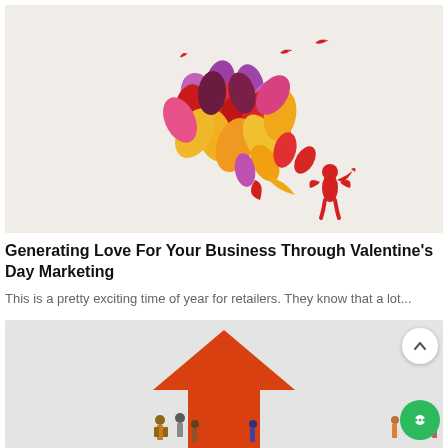[Figure (illustration): Valentine's Day illustration with a colorful heart made of balloon-like teardrops in red, pink, purple, orange and yellow colors, with small birds flying above, and a red cupid figure at the bottom right blowing a horn]
Generating Love For Your Business Through Valentine's Day Marketing
This is a pretty exciting time of year for retailers. They know that a lot...
[Figure (illustration): Business growth illustration showing a large red upward arrow with small figurines of people standing at its base]